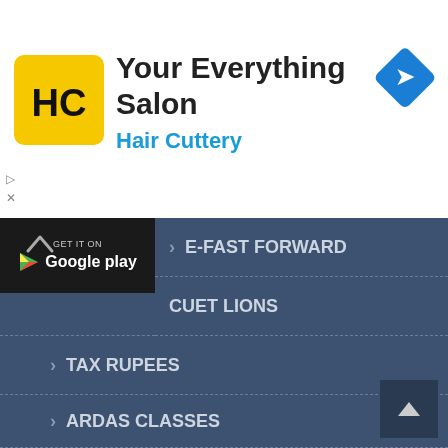[Figure (screenshot): Advertisement banner for Hair Cuttery - Your Everything Salon with HC logo, navigation icon, and Google Play badge overlay]
> E-FAST FORWARD
CUET LIONS
> TAX RUPEES
> ARDAS CLASSES
> BHARAT RESHMA
> ALL EXAMS
> JUST EXAM
> TECHNOLOGY XTEND
> ONLINE KAM
> EXAM SAATHI